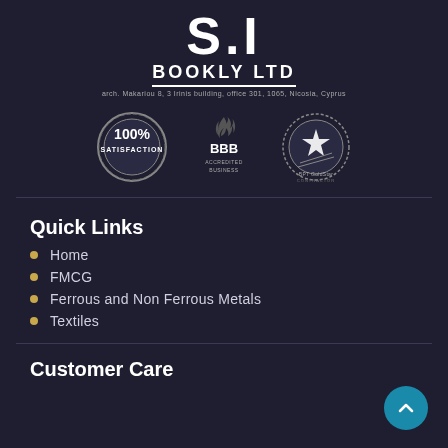[Figure (logo): S.I Bookly LTD company logo with address text]
[Figure (logo): Three certification badges: 100% Satisfaction, BBB Accredited Business, BPT GoldStar Contractor]
Quick Links
Home
FMCG
Ferrous and Non Ferrous Metals
Textiles
Customer Care